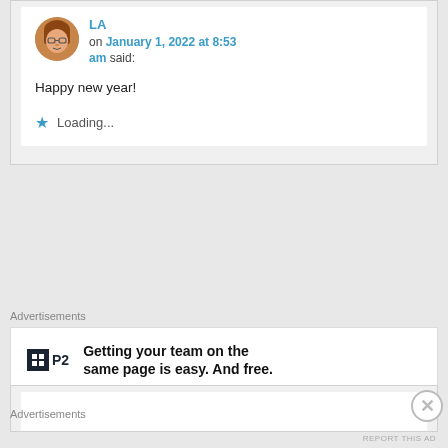LA on January 1, 2022 at 8:53 am said:
Happy new year!
Loading...
Advertisements
[Figure (other): P2 advertisement banner: logo with dark box containing grid icon and 'P2' text, ad copy reading 'Getting your team on the same page is easy. And free.']
REPORT THIS AD
Advertisements
REPORT THIS AD